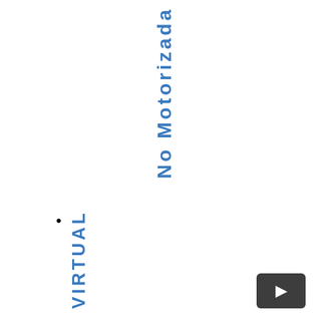No Motorizada
AULA VIRTUAL
[Figure (other): Navigation button with right arrow icon]